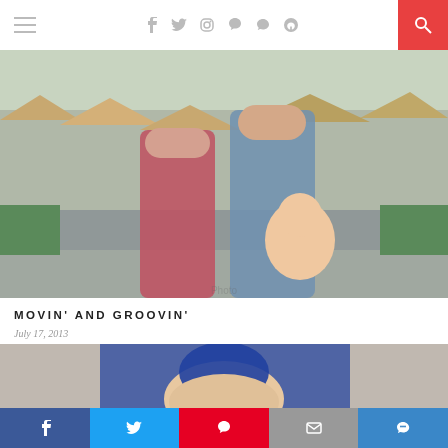Navigation bar with hamburger menu, social icons (facebook, twitter, instagram, pinterest, heart, rss), and search button
[Figure (photo): Young couple smiling outdoors, woman in red plaid dress, man in grey shirt holding a baby with a white bow headband. Suburban neighborhood with rooftops and a road in the background.]
MOVIN' AND GROOVIN'
July 17, 2013
[Figure (photo): Close-up photo of a baby wearing a large dark blue baseball cap, looking at the camera.]
Social sharing bar: Facebook, Twitter, Pinterest, Email, Bloglovin